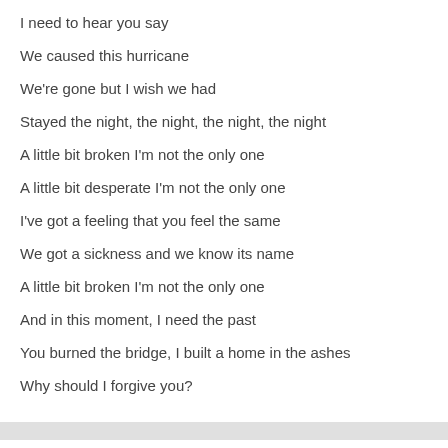I need to hear you say
We caused this hurricane
We're gone but I wish we had
Stayed the night, the night, the night, the night
A little bit broken I'm not the only one
A little bit desperate I'm not the only one
I've got a feeling that you feel the same
We got a sickness and we know its name
A little bit broken I'm not the only one
And in this moment, I need the past
You burned the bridge, I built a home in the ashes
Why should I forgive you?
Related Posts
Jorge Palma – Good Old Dixie's Back Lyrics by admin